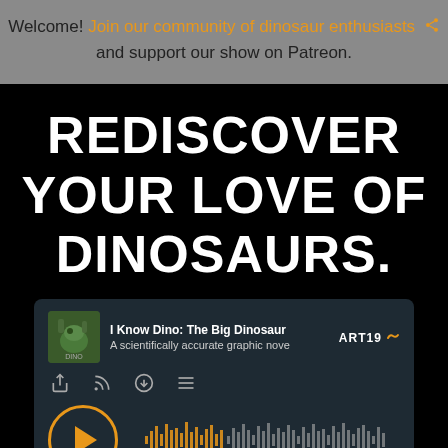Welcome! Join our community of dinosaur enthusiasts and support our show on Patreon.
REDISCOVER YOUR LOVE OF DINOSAURS.
[Figure (screenshot): Podcast audio player widget showing 'I Know Dino: The Big Dinosaur' podcast on ART19 platform, with episode description 'A scientifically accurate graphic nove', play button, waveform, timestamp 00:00 / 41:08, volume control, and Privacy Policy link.]